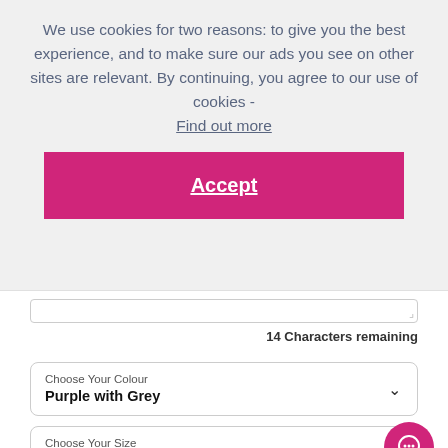We use cookies for two reasons: to give you the best experience, and to make sure our ads you see on other sites are relevant. By continuing, you agree to our use of cookies - Find out more
Accept
14 Characters remaining
Choose Your Colour
Purple with Grey
Choose Your Size
Age 3-4